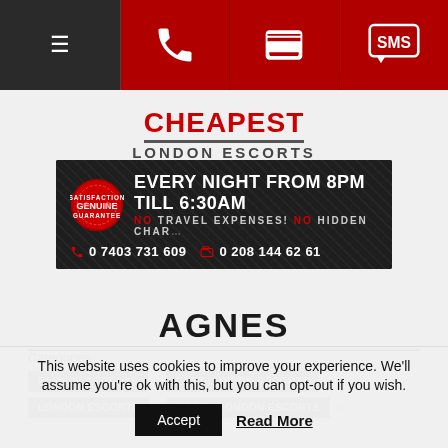[Figure (screenshot): Navigation bar with hamburger menu, phone icon, fax icon, and SMS icon on dark/red background]
[Figure (logo): Cheapest London Escorts logo with red CHEAPEST text and grey LONDON ESCORTS subtitle]
[Figure (infographic): Dark promotional banner: EVERY NIGHT FROM 8PM TILL 6:30AM, NO TRAVEL EXPENSES! NO HIDDEN CHARGES, phone numbers 0 7403 731 609 and 0 208 144 62 61, with Genuine badge]
AGNES
Categories: BLONDE ESCORTS > EAST LONDON ESCORTS > LONDON ESCORTS > NORTH LONDON ESCORTS >
This website uses cookies to improve your experience. We'll assume you're ok with this, but you can opt-out if you wish.
Accept  Read More